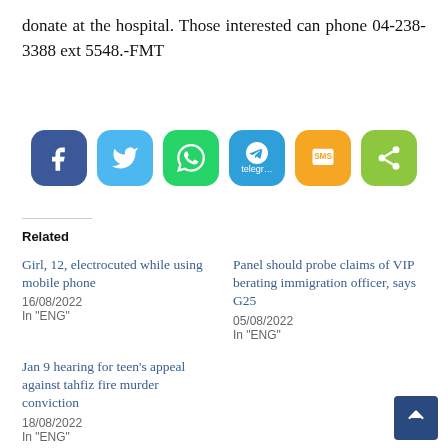donate at the hospital. Those interested can phone 04-238-3388 ext 5548.-FMT
[Figure (infographic): Row of social sharing buttons: Facebook (dark blue rounded square), Twitter (light blue rounded square), WhatsApp (green rounded square), Telegram (blue rounded square with label 'telegr...'), SMS (yellow rounded square), Share (green rounded square)]
Related
Girl, 12, electrocuted while using mobile phone
16/08/2022
In "ENG"
Panel should probe claims of VIP berating immigration officer, says G25
05/08/2022
In "ENG"
Jan 9 hearing for teen’s appeal against tahfiz fire murder conviction
18/08/2022
In "ENG"